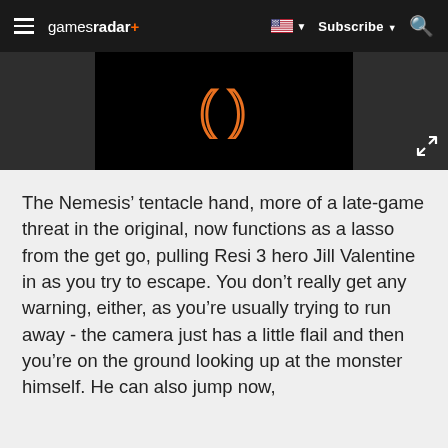gamesradar+ | Subscribe
[Figure (screenshot): Black video thumbnail with orange parenthesis/logo symbol in center, shown in a dark gray section]
The Nemesis’ tentacle hand, more of a late-game threat in the original, now functions as a lasso from the get go, pulling Resi 3 hero Jill Valentine in as you try to escape. You don’t really get any warning, either, as you’re usually trying to run away - the camera just has a little flail and then you’re on the ground looking up at the monster himself. He can also jump now,